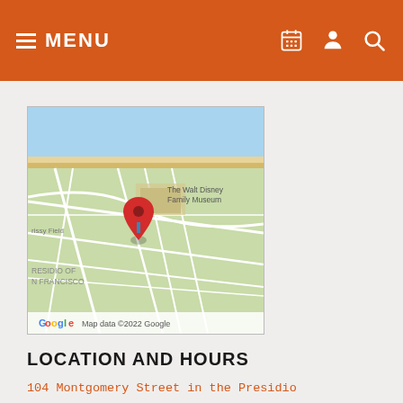MENU
[Figure (map): Google Map showing The Walt Disney Family Museum location at Presidio of San Francisco. A red map pin marks the museum location. Labels visible: Crissy Field, The Walt Disney Family Museum, PRESIDIO OF SAN FRANCISCO. Map data ©2022 Google.]
LOCATION AND HOURS
104 Montgomery Street in the Presidio
San Francisco, CA 94129